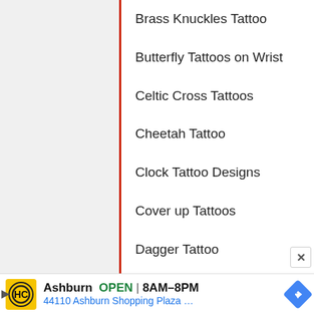Brass Knuckles Tattoo
Butterfly Tattoos on Wrist
Celtic Cross Tattoos
Cheetah Tattoo
Clock Tattoo Designs
Cover up Tattoos
Dagger Tattoo
Dog Portrait Tattoo
Easy Tattoo Designs
Ashburn  OPEN  8AM–8PM
44110 Ashburn Shopping Plaza …